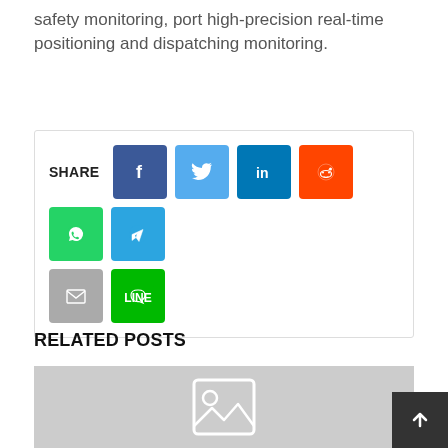safety monitoring, port high-precision real-time positioning and dispatching monitoring.
[Figure (infographic): Share buttons row: SHARE label followed by Facebook (blue), Twitter (light blue), LinkedIn (dark blue), Reddit (orange), WhatsApp (green), Telegram (blue) icon buttons, then Email (grey) and LINE (green) buttons on second row.]
RELATED POSTS
[Figure (photo): Grey placeholder image box with a white image/mountain icon in the center.]